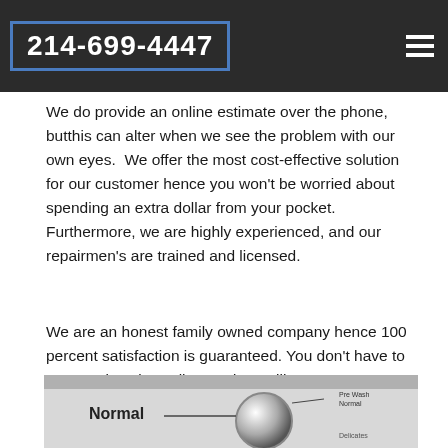214-699-4447
We do provide an online estimate over the phone, butthis can alter when we see the problem with our own eyes.  We offer the most cost-effective solution for our customer hence you won't be worried about spending an extra dollar from your pocket. Furthermore, we are highly experienced, and our repairmen's are trained and licensed.
We are an honest family owned company hence 100 percent satisfaction is guaranteed. You don't have to come to just, justcall us and we will come to you.
[Figure (photo): Close-up of a washing machine or appliance dial showing 'Normal' label with arrow and 'Delicates' label, in black and white]